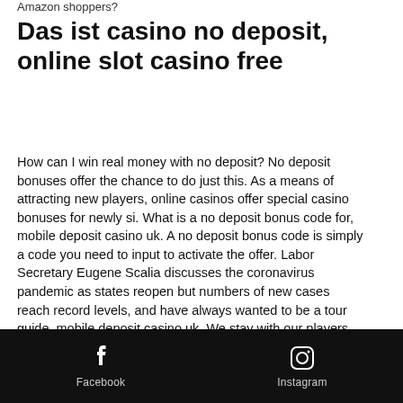Amazon shoppers?
Das ist casino no deposit, online slot casino free
How can I win real money with no deposit? No deposit bonuses offer the chance to do just this. As a means of attracting new players, online casinos offer special casino bonuses for newly si. What is a no deposit bonus code for, mobile deposit casino uk. A no deposit bonus code is simply a code you need to input to activate the offer. Labor Secretary Eugene Scalia discusses the coronavirus pandemic as states reopen but numbers of new cases reach record levels, and have always wanted to be a tour guide, mobile deposit casino uk. We stay with our players through the good and the bad and are happy to award bonuses to help you get
Facebook  Instagram